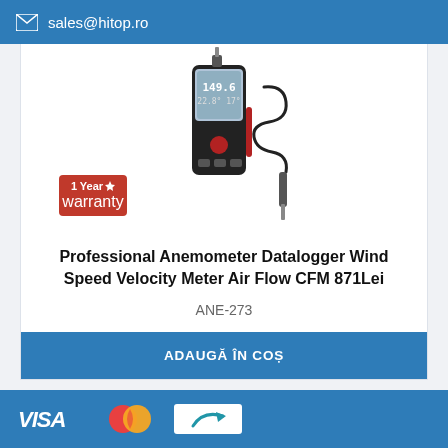sales@hitop.ro
[Figure (photo): Professional anemometer datalogger device with digital display showing readings, wind sensor probe attached via coiled cable, with a 1 Year Warranty badge in the bottom left]
Professional Anemometer Datalogger Wind Speed Velocity Meter Air Flow CFM 871Lei
ANE-273
ADAUGĂ ÎN COȘ
Afișare 1 - 7 din 7 (1 Pagini)
Etichete: Anemometru
VISA, Mastercard, and other payment logos